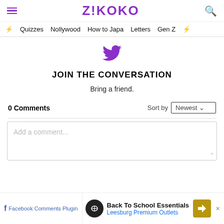Z!KOKO
Quizzes  Nollywood  How to Japa  Letters  Gen Z
[Figure (logo): Twitter bird icon in purple]
JOIN THE CONVERSATION
Bring a friend.
0 Comments   Sort by  Newest
Add a comment...
Facebook Comments Plugin  Back To School Essentials  Leesburg Premium Outlets